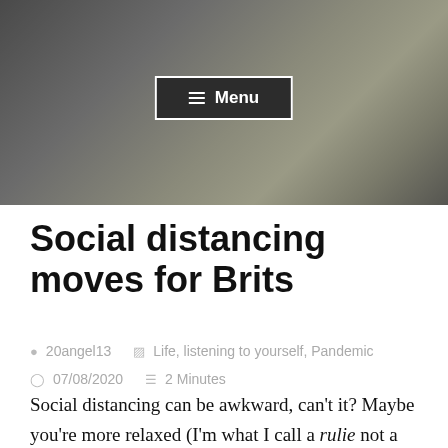[Figure (photo): Aerial or overhead view of a street/pavement scene with dark tones, serving as a hero banner image]
≡ Menu
Social distancing moves for Brits
20angel13   Life, listening to yourself, Pandemic   07/08/2020   2 Minutes
Social distancing can be awkward, can't it? Maybe you're more relaxed (I'm what I call a rulie not a